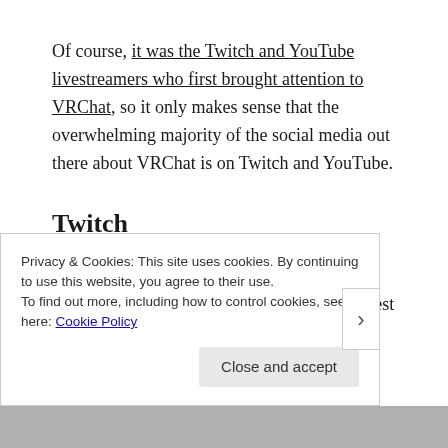Of course, it was the Twitch and YouTube livestreamers who first brought attention to VRChat, so it only makes sense that the overwhelming majority of the social media out there about VRChat is on Twitch and YouTube.
Twitch
There’s a very active VRChat community on Twitch, with dozens of livestreamers. Your best bet is to go exploring, and see whose content appeals to you!
Privacy & Cookies: This site uses cookies. By continuing to use this website, you agree to their use.
To find out more, including how to control cookies, see here: Cookie Policy